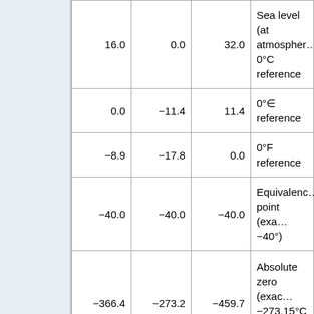| °Rømer | °Celsius | °Fahrenheit | Notes |
| --- | --- | --- | --- |
| 16.0 | 0.0 | 32.0 | Sea level (at atmosphere), 0°C reference |
| 0.0 | −11.4 | 11.4 | 0°€ reference |
| −8.9 | −17.8 | 0.0 | 0°F reference |
| −40.0 | −40.0 | −40.0 | Equivalence point (exact −40°) |
| −366.4 | −273.2 | −459.7 | Absolute zero (exact −273.15°C or −459.67°F) |
Transcript
[A thermometer is shown where